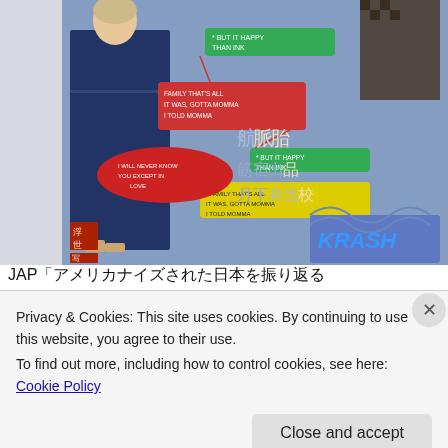[Figure (illustration): Manga/comic artwork with Japanese ukiyo-e style figure in kimono and modern elements. Features speech bubbles in English and Japanese characters. Text boxes read 'BUT IT HAPPY THAN INK', 'FAMILY THAT'S ALL IT WAS, GOTTA MOMMA I TOLD MOMMA', 'BUT IT HAPPY THAN INK', and a red oval speech bubble. Japanese text and kanji characters visible. 'KRASH' text appears in lower right panel area.]
JAP「アメリカナイズされた日本を振り返る
Privacy & Cookies: This site uses cookies. By continuing to use this website, you agree to their use.
To find out more, including how to control cookies, see here: Cookie Policy